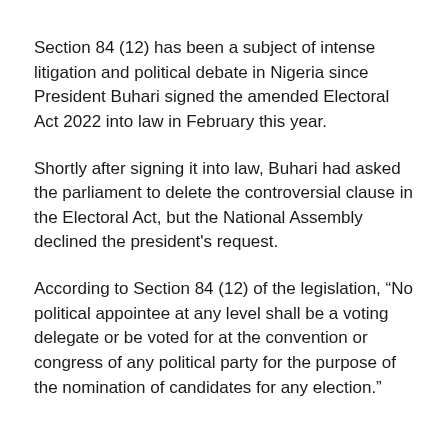Section 84 (12) has been a subject of intense litigation and political debate in Nigeria since President Buhari signed the amended Electoral Act 2022 into law in February this year.
Shortly after signing it into law, Buhari had asked the parliament to delete the controversial clause in the Electoral Act, but the National Assembly declined the president's request.
According to Section 84 (12) of the legislation, “No political appointee at any level shall be a voting delegate or be voted for at the convention or congress of any political party for the purpose of the nomination of candidates for any election.”